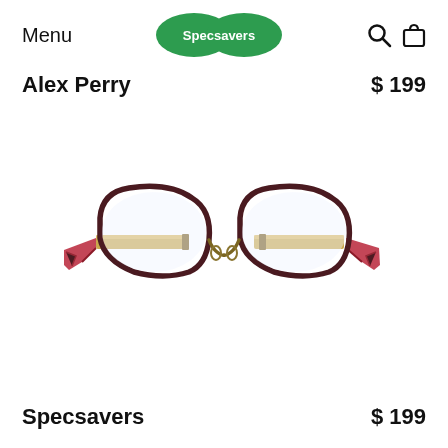Menu | Specsavers
Alex Perry  $199
[Figure (photo): A pair of women's eyeglasses with dark tortoiseshell/burgundy frames, squared cat-eye shape, gold metal temples, and pink patterned temple tips, displayed on a white background.]
Specsavers  $199